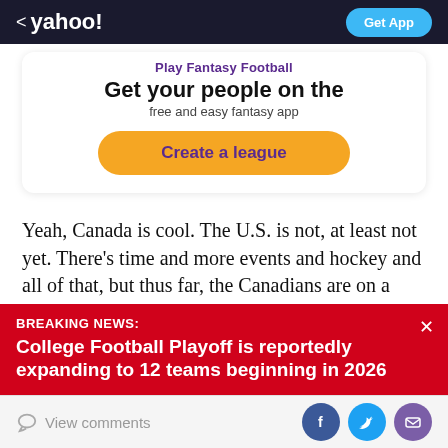< yahoo! | Get App
[Figure (infographic): Play Fantasy Football promo card with 'Get your people on the free and easy fantasy app' text and 'Create a league' button]
Yeah, Canada is cool. The U.S. is not, at least not yet. There's time and more events and hockey and all of that, but thus far, the Canadians are on a roll, extending their hot streak from the Vancouver Games and winning...
BREAKING NEWS: College Football Playoff is reportedly expanding to 12 teams beginning in 2026
View comments